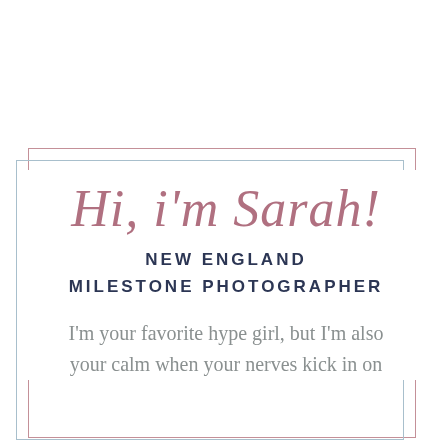Hi, i'm Sarah!
NEW ENGLAND MILESTONE PHOTOGRAPHER
I'm your favorite hype girl, but I'm also your calm when your nerves kick in on